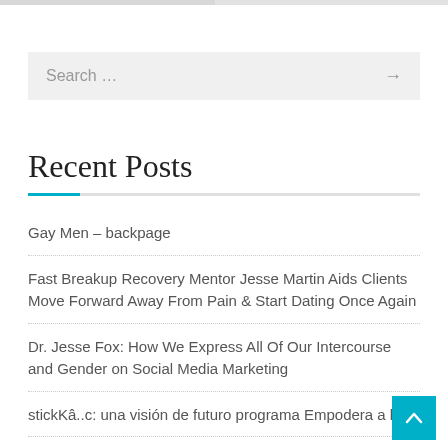[Figure (other): Top navigation bar with two gray sections]
Search …
Recent Posts
Gay Men – backpage
Fast Breakup Recovery Mentor Jesse Martin Aids Clients Move Forward Away From Pain & Start Dating Once Again
Dr. Jesse Fox: How We Express All Of Our Intercourse and Gender on Social Media Marketing
stickKâ..c: una visión de futuro programa Empodera a las